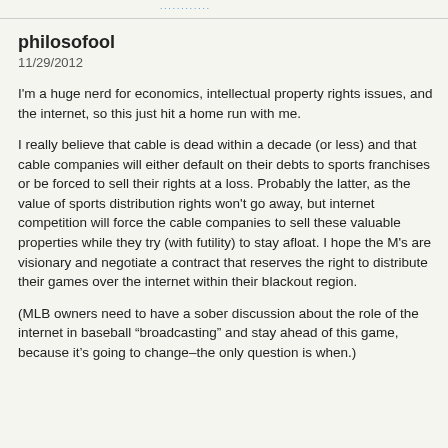............
philosofool
11/29/2012
I'm a huge nerd for economics, intellectual property rights issues, and the internet, so this just hit a home run with me.
I really believe that cable is dead within a decade (or less) and that cable companies will either default on their debts to sports franchises or be forced to sell their rights at a loss. Probably the latter, as the value of sports distribution rights won't go away, but internet competition will force the cable companies to sell these valuable properties while they try (with futility) to stay afloat. I hope the M's are visionary and negotiate a contract that reserves the right to distribute their games over the internet within their blackout region.
(MLB owners need to have a sober discussion about the role of the internet in baseball “broadcasting” and stay ahead of this game, because it’s going to change–the only question is when.)